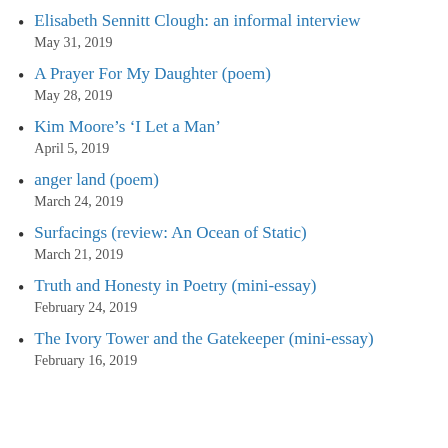Elisabeth Sennitt Clough: an informal interview
May 31, 2019
A Prayer For My Daughter (poem)
May 28, 2019
Kim Moore’s ‘I Let a Man’
April 5, 2019
anger land (poem)
March 24, 2019
Surfacings (review: An Ocean of Static)
March 21, 2019
Truth and Honesty in Poetry (mini-essay)
February 24, 2019
The Ivory Tower and the Gatekeeper (mini-essay)
February 16, 2019